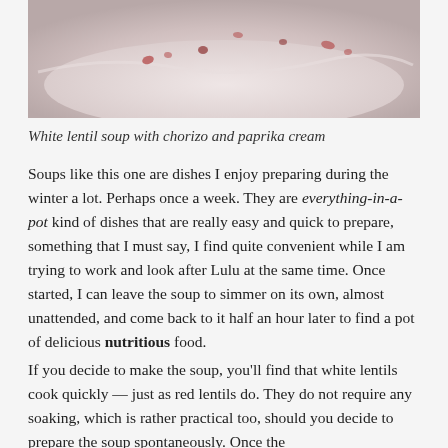[Figure (photo): Close-up photo of white lentil soup with chorizo and paprika cream in a white bowl, showing the creamy surface with red paprika swirls and chorizo pieces]
White lentil soup with chorizo and paprika cream
Soups like this one are dishes I enjoy preparing during the winter a lot. Perhaps once a week. They are everything-in-a-pot kind of dishes that are really easy and quick to prepare, something that I must say, I find quite convenient while I am trying to work and look after Lulu at the same time. Once started, I can leave the soup to simmer on its own, almost unattended, and come back to it half an hour later to find a pot of delicious nutritious food.
If you decide to make the soup, you’ll find that white lentils cook quickly — just as red lentils do. They do not require any soaking, which is rather practical too, should you decide to prepare the soup spontaneously. Once the